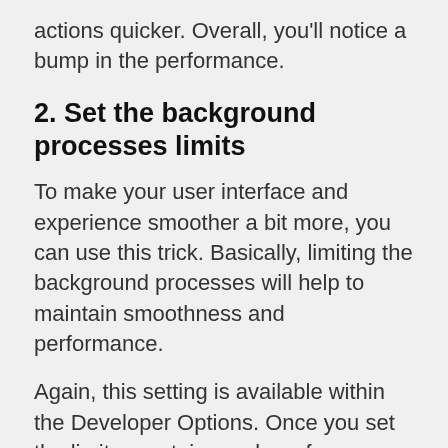actions quicker. Overall, you'll notice a bump in the performance.
2. Set the background processes limits
To make your user interface and experience smoother a bit more, you can use this trick. Basically, limiting the background processes will help to maintain smoothness and performance.
Again, this setting is available within the Developer Options. Once you set the limit, a certain number of background processes will run in the background. Therefore, it saves